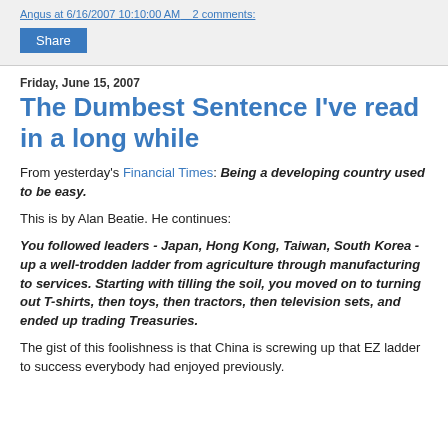Angus at 6/16/2007 10:10:00 AM   2 comments:
Share
Friday, June 15, 2007
The Dumbest Sentence I've read in a long while
From yesterday's Financial Times: Being a developing country used to be easy.
This is by Alan Beatie. He continues:
You followed leaders - Japan, Hong Kong, Taiwan, South Korea - up a well-trodden ladder from agriculture through manufacturing to services. Starting with tilling the soil, you moved on to turning out T-shirts, then toys, then tractors, then television sets, and ended up trading Treasuries.
The gist of this foolishness is that China is screwing up that EZ ladder to success everybody had enjoyed previously.